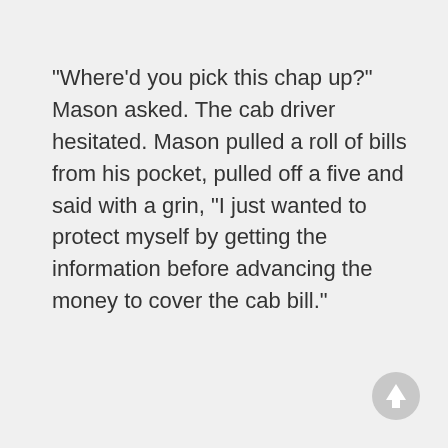"Where'd you pick this chap up?" Mason asked. The cab driver hesitated. Mason pulled a roll of bills from his pocket, pulled off a five and said with a grin, "I just wanted to protect myself by getting the information before advancing the money to cover the cab bill."
[Figure (other): A circular grey button with an upward-pointing arrow icon, positioned in the bottom-right corner of the page.]